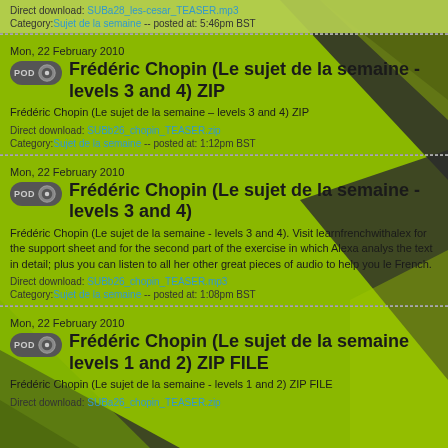Direct download: SUBa28_les-cesar_TEASER.mp3
Category: Sujet de la semaine -- posted at: 5:46pm BST
Mon, 22 February 2010
Frédéric Chopin (Le sujet de la semaine - levels 3 and 4) ZIP
Frédéric Chopin (Le sujet de la semaine - levels 3 and 4) ZIP
Direct download: SUBb26_chopin_TEASER.zip
Category: Sujet de la semaine -- posted at: 1:12pm BST
Mon, 22 February 2010
Frédéric Chopin (Le sujet de la semaine - levels 3 and 4)
Frédéric Chopin (Le sujet de la semaine - levels 3 and 4). Visit learnfrenchwithalex for the support sheet and for the second part of the exercise in which Alexa analyses the text in detail; plus you can listen to all her other great pieces of audio to help you learn French.
Direct download: SUBb26_chopin_TEASER.mp3
Category: Sujet de la semaine -- posted at: 1:08pm BST
Mon, 22 February 2010
Frédéric Chopin (Le sujet de la semaine - levels 1 and 2) ZIP FILE
Frédéric Chopin (Le sujet de la semaine - levels 1 and 2) ZIP FILE
Direct download: SUBa26_chopin_TEASER.zip